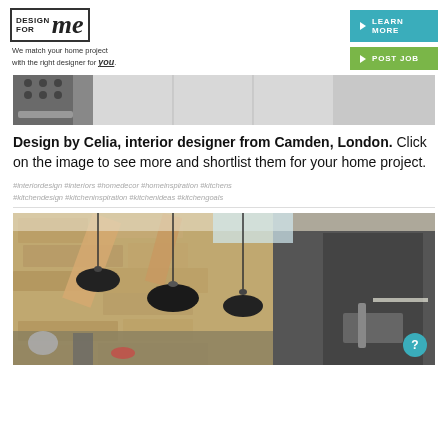[Figure (logo): DesignForMe logo with tagline: We match your home project with the right designer for you.]
[Figure (other): Two teal and green buttons: LEARN MORE and POST JOB]
[Figure (photo): Partial view of a kitchen interior with dark appliances and light cabinetry]
Design by Celia, interior designer from Camden, London. Click on the image to see more and shortlist them for your home project.
#interiordesign #interiors #homedecor #homeinspiration #kitchens
#kitchendesign #kitcheninspiration #kitchenideas #kitchengoals
[Figure (photo): Interior photo of a rustic kitchen with exposed stone walls, wooden beams, black pendant lights, and a modern kitchen island with sink]